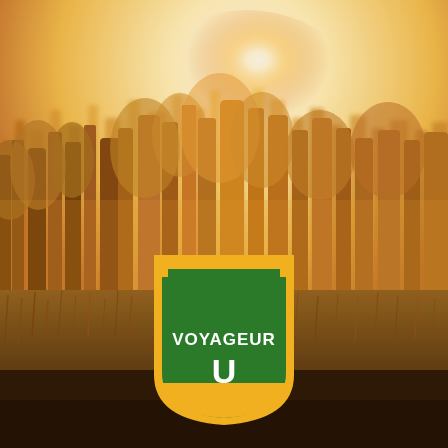[Figure (photo): Autumn forest scene with birch trees backlit by warm golden sunlight, misty meadow in the foreground, warm orange and yellow tones throughout]
[Figure (logo): Voyageur U shield logo: green shield shape with gold border, white text reading VOYAGEUR on top line and large U below]